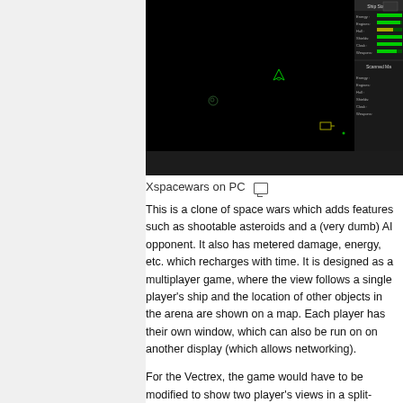[Figure (screenshot): Screenshot of Xspacewars game running on PC. Shows a black space game arena with green vector graphics of spaceships and asteroids. A status panel is visible on the right side showing 'Ship Status' and 'Scanned Ma' sections with green bar meters for Energy, Engines, Hull, Shields, Cloak, Weapons. The main game view is mostly black with small green ship/object icons scattered in the arena.]
Xspacewars on PC
This is a clone of space wars which adds features such as shootable asteroids and a (very dumb) AI opponent. It also has metered damage, energy, etc. which recharges with time. It is designed as a multiplayer game, where the view follows a single player's ship and the location of other objects in the arena are shown on a map. Each player has their own window, which can also be run on on another display (which allows networking).
For the Vectrex, the game would have to be modified to show two player's views in a split-